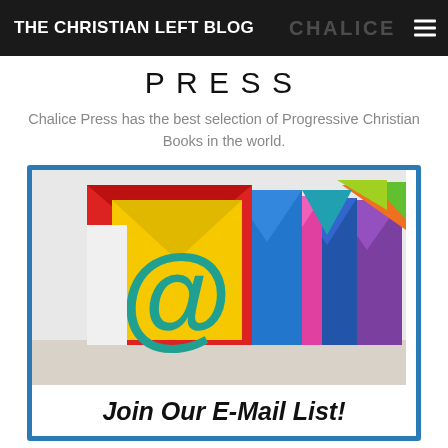THE CHRISTIAN LEFT BLOG
CHALICE PRESS
Chalice Press has the best selection of Progressive Christian Books in the world.
[Figure (photo): Colorful envelopes with an @ symbol on the front, arranged in a row, promoting an email list signup]
Join Our E-Mail List!